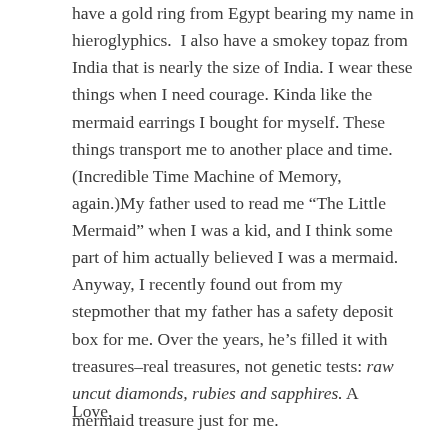have a gold ring from Egypt bearing my name in hieroglyphics. I also have a smokey topaz from India that is nearly the size of India. I wear these things when I need courage. Kinda like the mermaid earrings I bought for myself. These things transport me to another place and time. (Incredible Time Machine of Memory, again.)My father used to read me “The Little Mermaid” when I was a kid, and I think some part of him actually believed I was a mermaid. Anyway, I recently found out from my stepmother that my father has a safety deposit box for me. Over the years, he’s filled it with treasures–real treasures, not genetic tests: raw uncut diamonds, rubies and sapphires. A mermaid treasure just for me.
Love,